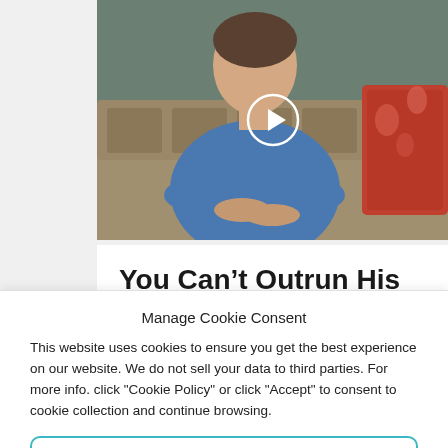[Figure (photo): Screenshot of a webpage showing a video thumbnail with a man in a blue shirt sitting on a couch with a play button overlay, and below it the title text 'You Can't Outrun His Goodness.']
You Can’t Outrun His Goodness.
Manage Cookie Consent
This website uses cookies to ensure you get the best experience on our website. We do not sell your data to third parties. For more info. click "Cookie Policy" or click "Accept" to consent to cookie collection and continue browsing.
Accept